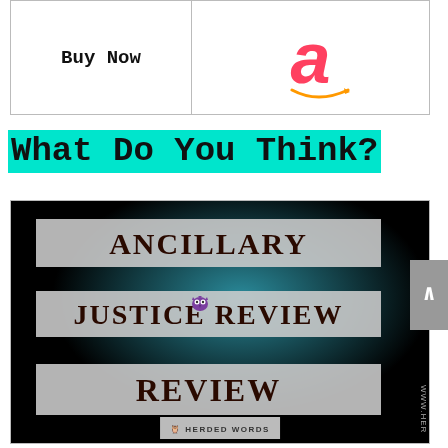[Figure (other): Buy Now button with Amazon logo (pink 'a' with orange smile arc) in a two-cell bordered box]
What Do You Think?
[Figure (illustration): Book review image for 'Ancillary Justice Review' by Herded Words. Black background with teal glow, three gray banner strips reading 'Ancillary', 'Justice Review', 'Review'. Small purple owl icon and 'Herded Words' label at bottom. Vertical watermark on right edge reading 'WWW.HER'.]